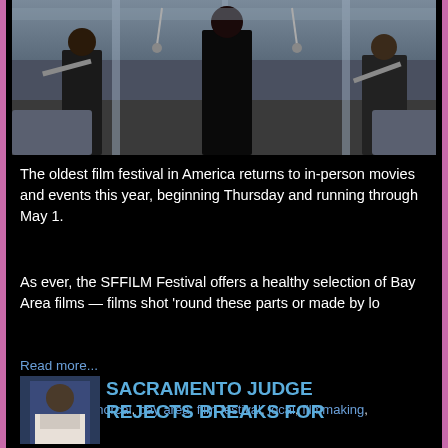[Figure (photo): Photo of musicians playing violin on what appears to be a subway/transit car]
The oldest film festival in America returns to in-person movies and events this year, beginning Thursday and running through May 1.
As ever, the SFFILM Festival offers a healthy selection of Bay Area films — films shot 'round these parts or made by lo
Read more...
Comments: 0
Tags: cff, sff, norcal, bay area, film festival, local, filmmaking, sacramento
[Figure (photo): Thumbnail photo of a man in a white shirt]
SACRAMENTO JUDGE REJECTS BREAKS FOR